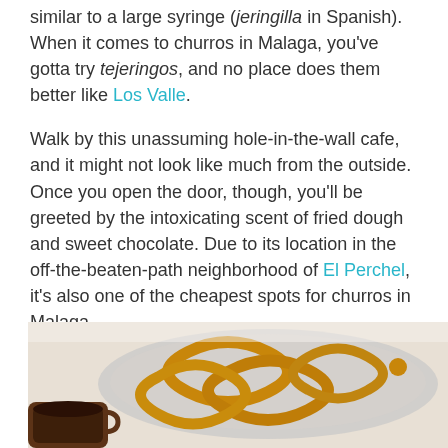similar to a large syringe (jeringilla in Spanish). When it comes to churros in Malaga, you've gotta try tejeringos, and no place does them better like Los Valle.
Walk by this unassuming hole-in-the-wall cafe, and it might not look like much from the outside. Once you open the door, though, you'll be greeted by the intoxicating scent of fried dough and sweet chocolate. Due to its location in the off-the-beaten-path neighborhood of El Perchel, it's also one of the cheapest spots for churros in Malaga.
[Figure (photo): Photo of tejeringos (large churros) arranged on a metal tray, with a cup of chocolate sauce visible in the lower left corner. The churros are golden-brown fried dough loops.]